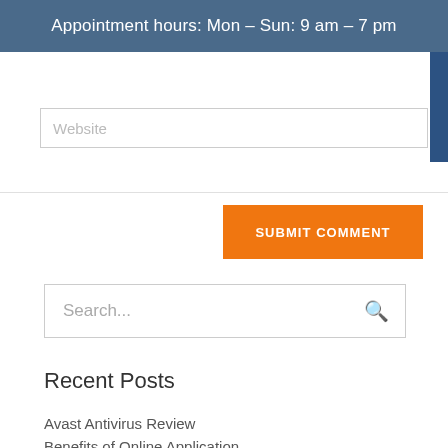Appointment hours: Mon – Sun: 9 am – 7 pm
Website
SUBMIT COMMENT
Search...
Recent Posts
Avast Antivirus Review
Benefits of Online Application